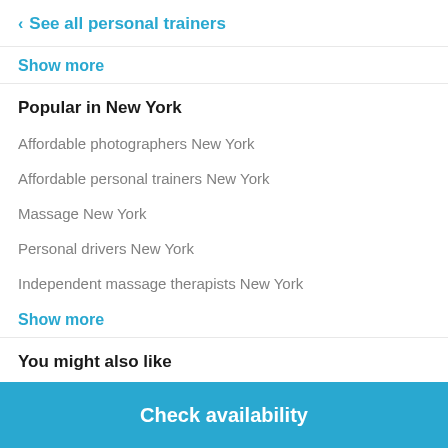< See all personal trainers
Show more
Popular in New York
Affordable photographers New York
Affordable personal trainers New York
Massage New York
Personal drivers New York
Independent massage therapists New York
Show more
You might also like
Personal trainers near me
Check availability